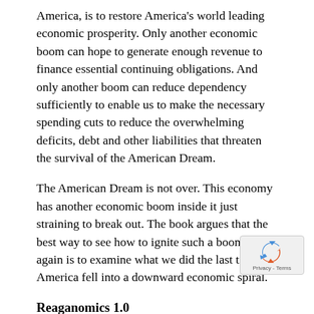America, is to restore America's world leading economic prosperity. Only another economic boom can hope to generate enough revenue to finance essential continuing obligations. And only another boom can reduce dependency sufficiently to enable us to make the necessary spending cuts to reduce the overwhelming deficits, debt and other liabilities that threaten the survival of the American Dream.
The American Dream is not over. This economy has another economic boom inside it just straining to break out. The book argues that the best way to see how to ignite such a boom once again is to examine what we did the last time America fell into a downward economic spiral.
Reaganomics 1.0
When President Reagan was elected in 1980, America suffered double digit inflation, double digit